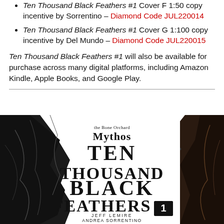Ten Thousand Black Feathers #1 Cover F 1:50 copy incentive by Sorrentino – Diamond Code JUL220014
Ten Thousand Black Feathers #1 Cover G 1:100 copy incentive by Del Mundo – Diamond Code JUL220015
Ten Thousand Black Feathers #1 will also be available for purchase across many digital platforms, including Amazon Kindle, Apple Books, and Google Play.
[Figure (illustration): Comic book cover for 'Ten Thousand Black Feathers #1' from the Bone Orchard Mythos series. Large dark feathers on the left and right sides frame the title text in the center. Credits: Jeff Lemire, Andrea Sorrentino, Dave Stewart. Issue number 1 shown in a black box.]